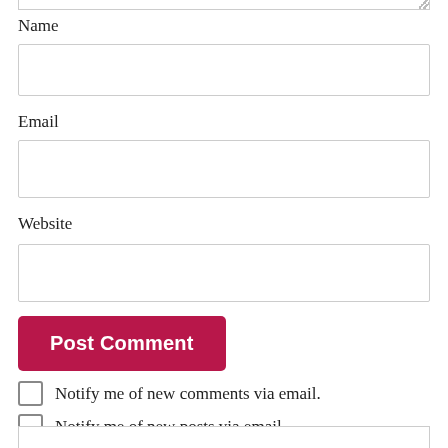Name
Email
Website
Post Comment
Notify me of new comments via email.
Notify me of new posts via email.